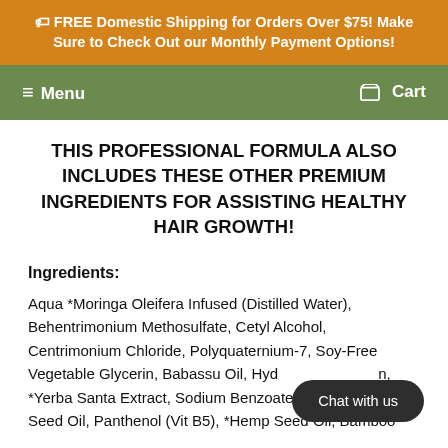🏷 FREE Domestic Shipping for Orders Over $75! Make Sure to Check Out our Monthly Payment Options!
Menu  Cart
THIS PROFESSIONAL FORMULA ALSO INCLUDES THESE OTHER PREMIUM INGREDIENTS FOR ASSISTING HEALTHY HAIR GROWTH!
Ingredients:
Aqua *Moringa Oleifera Infused (Distilled Water), Behentrimonium Methosulfate, Cetyl Alcohol, Centrimonium Chloride, Polyquaternium-7, Soy-Free Vegetable Glycerin, Babassu Oil, Hydrolyzed Keratin, *Yerba Santa Extract, Sodium Benzoate, Moringa Oleifera Seed Oil, Panthenol (Vit B5), *Hemp Seed Oil, Bamboo